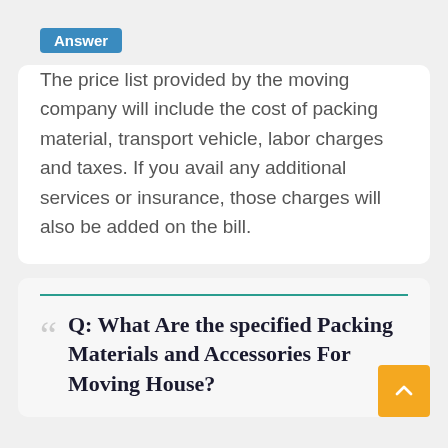Answer
The price list provided by the moving company will include the cost of packing material, transport vehicle, labor charges and taxes. If you avail any additional services or insurance, those charges will also be added on the bill.
Q: What Are the specified Packing Materials and Accessories For Moving House?